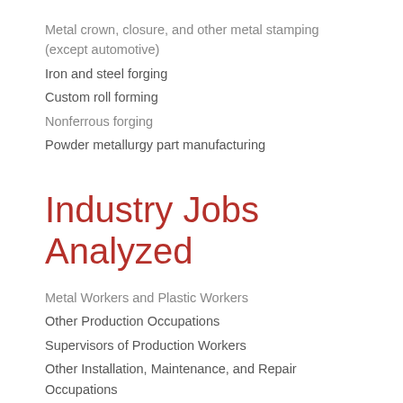Metal crown, closure, and other metal stamping (except automotive)
Iron and steel forging
Custom roll forming
Nonferrous forging
Powder metallurgy part manufacturing
Industry Jobs Analyzed
Metal Workers and Plastic Workers
Other Production Occupations
Supervisors of Production Workers
Other Installation, Maintenance, and Repair Occupations
Material Moving Workers